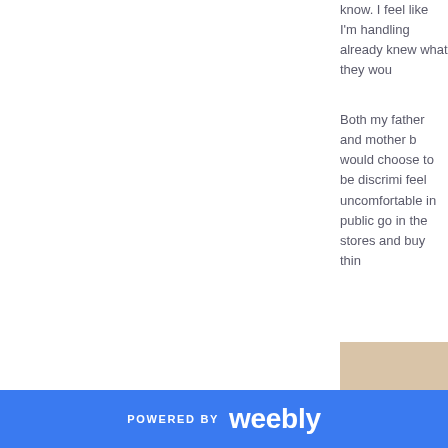know. I feel like I'm handling already knew what they wou
Both my father and mother b would choose to be discrimi feel uncomfortable in public go in the stores and buy thin
[Figure (photo): A person viewed from behind, at a beach with rocky shoreline visible, wearing a plaid/striped jacket with a purple hoodie or scarf. Image has a warm vintage/sepia tone filter applied.]
POWERED BY weebly